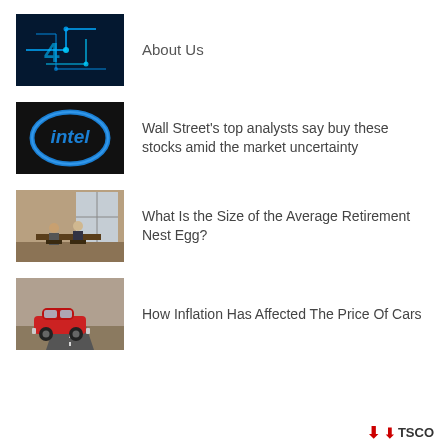[Figure (photo): Abstract digital circuit board with neon blue lines and a number 4 shape]
About Us
[Figure (photo): Intel logo neon blue oval sign in dark background]
Wall Street’s top analysts say buy these stocks amid the market uncertainty
[Figure (photo): Two people sitting at a desk near a window, indoor scene]
What Is the Size of the Average Retirement Nest Egg?
[Figure (photo): Red vintage car driving on a road in a desert landscape]
How Inflation Has Affected The Price Of Cars
TSCO